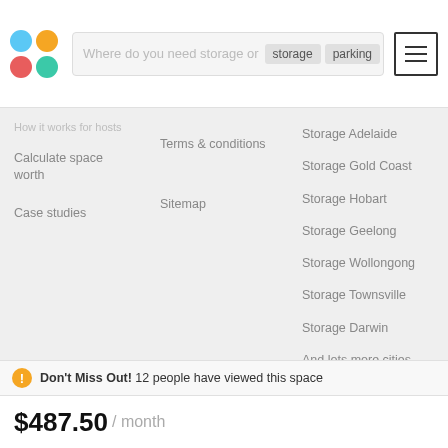[Figure (logo): Four colored circles arranged in 2x2 grid: blue, orange, red, teal]
Where do you need storage or   storage   parking
How it works for hosts
Calculate space worth
Case studies
Terms & conditions
Sitemap
Storage Adelaide
Storage Gold Coast
Storage Hobart
Storage Geelong
Storage Wollongong
Storage Townsville
Storage Darwin
And lots more cities
Don't Miss Out! 12 people have viewed this space
$487.50 / month